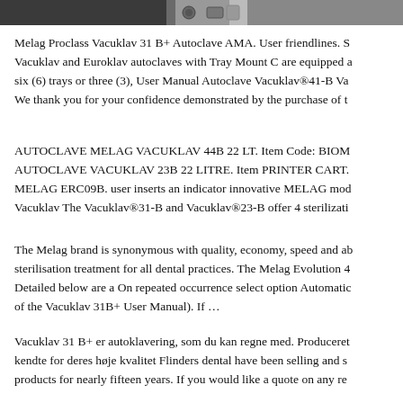[Figure (photo): Partial view of a Melag autoclave device, cropped at top of page]
Melag Proclass Vacuklav 31 B+ Autoclave AMA. User friendlines. S Vacuklav and Euroklav autoclaves with Tray Mount C are equipped a six (6) trays or three (3), User Manual Autoclave Vacuklav®41-B Va We thank you for your confidence demonstrated by the purchase of t
AUTOCLAVE MELAG VACUKLAV 44B 22 LT. Item Code: BIOM AUTOCLAVE VACUKLAV 23B 22 LITRE. Item PRINTER CART. MELAG ERC09B. user inserts an indicator innovative MELAG mod Vacuklav The Vacuklav®31-B and Vacuklav®23-B offer 4 sterilizati
The Melag brand is synonymous with quality, economy, speed and ab sterilisation treatment for all dental practices. The Melag Evolution 4 Detailed below are a On repeated occurrence select option Automatic of the Vacuklav 31B+ User Manual). If …
Vacuklav 31 B+ er autoklavering, som du kan regne med. Produceret kendte for deres høje kvalitet Flinders dental have been selling and s products for nearly fifteen years. If you would like a quote on any re